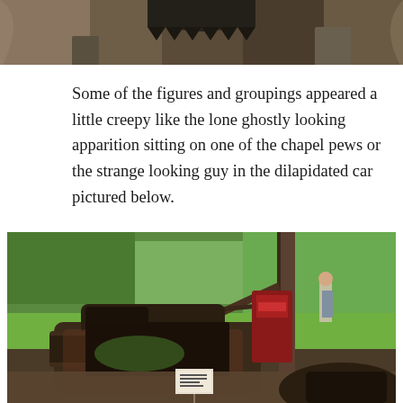[Figure (photo): Partial photo at top of page showing what appears to be a large mechanical or sculptural figure with jagged teeth or saw-like elements, set against a rocky or earthy background.]
Some of the figures and groupings appeared a little creepy like the lone ghostly looking apparition sitting on one of the chapel pews or the strange looking guy in the dilapidated car pictured below.
[Figure (photo): Photo of a dilapidated, rusted old car wreck in an outdoor garden or yard setting, with trees and green foliage in the background and a figure visible standing in the distance. A small sign is visible near the car.]